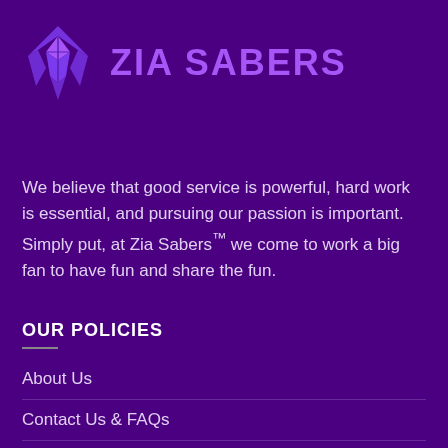[Figure (logo): Zia Sabers geometric purple logo icon and brand name text]
We believe that good service is powerful, hard work is essential, and pursuing our passion is important. Simply put, at Zia Sabers™ we come to work a big fan to have fun and share the fun.
OUR POLICIES
About Us
Contact Us & FAQs
Track your order